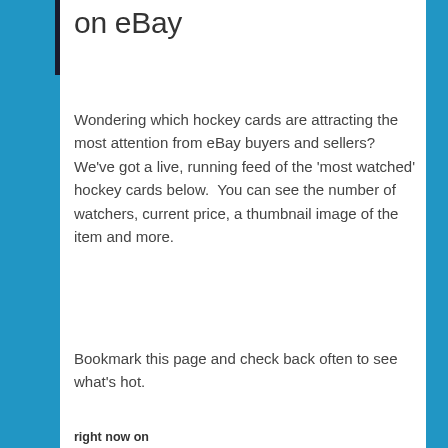on eBay
Wondering which hockey cards are attracting the most attention from eBay buyers and sellers?  We've got a live, running feed of the 'most watched' hockey cards below.  You can see the number of watchers, current price, a thumbnail image of the item and more.
Bookmark this page and check back often to see what's hot.
[Figure (logo): eBay logo with 'right now on' text above it]
2018 Panini Silver Prizm World Cup Soccer